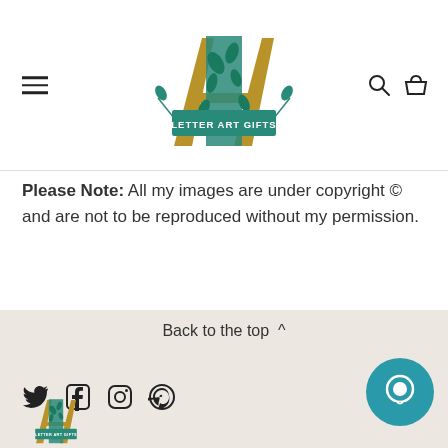[Figure (logo): Letter Art Gifts logo: stylized LA letters in teal and gold with botanical leaf decoration and 'LETTER ART GIFTS' text banner]
Please Note: All my images are under copyright © and are not to be reproduced without my permission.
Back to the top ^
[Figure (other): Social media icons: Twitter, Facebook, Instagram, Pinterest]
[Figure (other): Teal circular chat/message button]
[Figure (logo): Small Letter Art Gifts logo at bottom left]